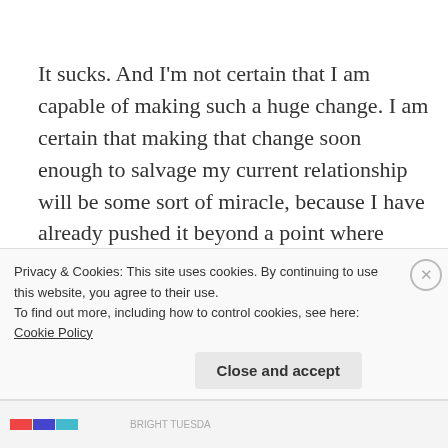It sucks.  And I'm not certain that I am capable of making such a huge change.   I am certain that making that change soon enough to salvage my current relationship will be some sort of miracle, because I have already pushed it beyond a point where anyone should decide to continue trying to love me, know me, or understand me.  Once you literally chase a man down the street, things are likely beyond repair.  If this man returns and states that he wants to keep trying to be in relationship...
Privacy & Cookies: This site uses cookies. By continuing to use this website, you agree to their use.
To find out more, including how to control cookies, see here: Cookie Policy